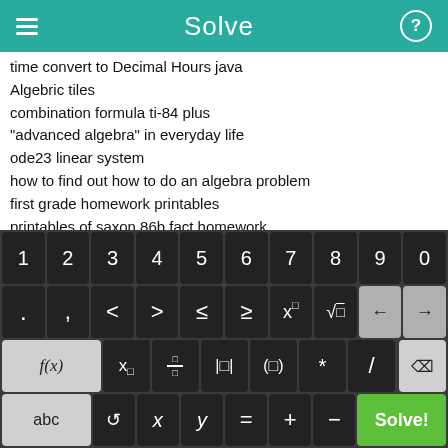Solve
time convert to Decimal Hours java
Algebric tiles
combination formula ti-84 plus
"advanced algebra" in everyday life
ode23 linear system
how to find out how to do an algebra problem
first grade homework printables
printables of saxon 86b fact homework
Algebra I EOCT
hw+solution+probability+jacod
[Figure (screenshot): On-screen math keyboard with rows: digits 1-9,0; operators . , < > ≤ ≥ x^□ √□ backspace arrow; f(x) x₀ fraction |□| (□) * / delete; abc refresh-symbol x y = + - Solve! button]